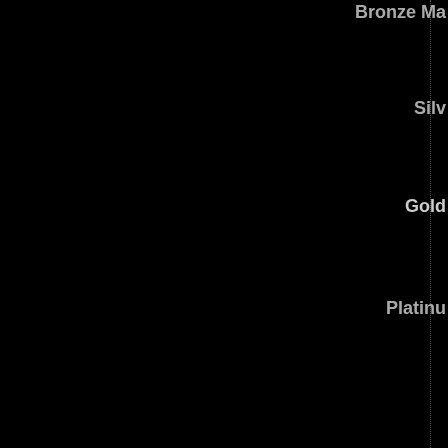Bronze Ma
Silv
Gold
Platinu
Gra
R